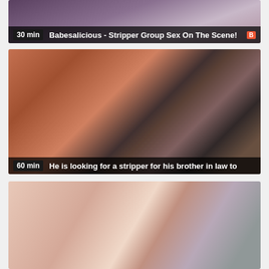[Figure (screenshot): Video thumbnail showing adult content - stripper group scene, with overlay bar showing '30 min' duration and title 'Babesalicious - Stripper Group Sex On The Scene!' with a red badge]
[Figure (screenshot): Video thumbnail showing people in a living room scene - man on couch, woman standing, another figure in background. Overlay bar shows '60 min' and title 'He is looking for a stripper for his brother in law to']
[Figure (screenshot): Video thumbnail showing adult content scene with multiple people, partially cut off at page bottom]